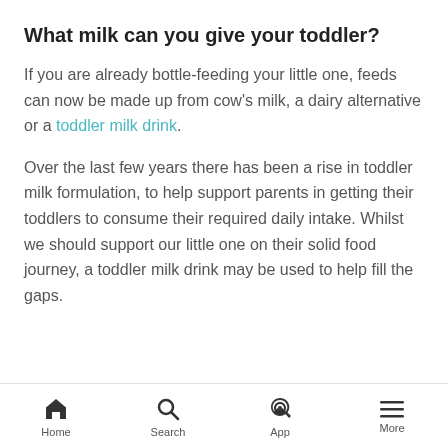What milk can you give your toddler?
If you are already bottle-feeding your little one, feeds can now be made up from cow's milk, a dairy alternative or a toddler milk drink.
Over the last few years there has been a rise in toddler milk formulation, to help support parents in getting their toddlers to consume their required daily intake. Whilst we should support our little one on their solid food journey, a toddler milk drink may be used to help fill the gaps.
Home  Search  App  More